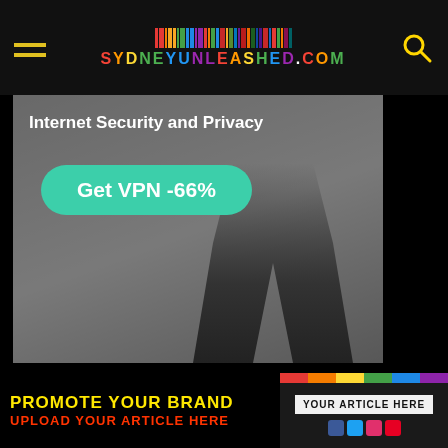SYDNEYUNLEASHED.COM
[Figure (infographic): VPN advertisement banner showing a person walking with text 'Internet Security and Privacy' and a teal button 'Get VPN -66%']
[Figure (infographic): Marquee nightclub advertisement on purple background with text 'Discount Tickets available here!' and 'MARQUEE THE STAR SYDNEY']
[Figure (infographic): Bottom promotional bar with yellow text 'PROMOTE YOUR BRAND', red text 'UPLOAD YOUR ARTICLE HERE', and phone image with 'YOUR ARTICLE HERE']